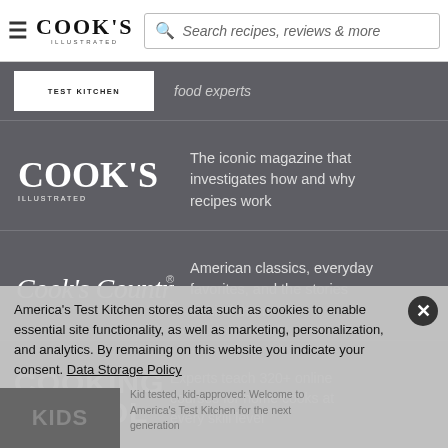Cook's Illustrated — Search recipes, reviews & more
TEST KITCHEN — food experts
[Figure (logo): Cook's Illustrated logo in white on dark background]
The iconic magazine that investigates how and why recipes work
[Figure (logo): Cook's Country logo in white script on dark background]
American classics, everyday favorites, and the stories behind them
[Figure (logo): COOKING SCHOOL text logo in white bold capitals]
Experts teach 320+ online courses for home cooks at every skill level
America's Test Kitchen stores data such as cookies to enable essential site functionality, as well as marketing, personalization, and analytics. By remaining on this website you indicate your consent. Data Storage Policy
Kid tested, kid-approved: Welcome to America's Test Kitchen for the next generation